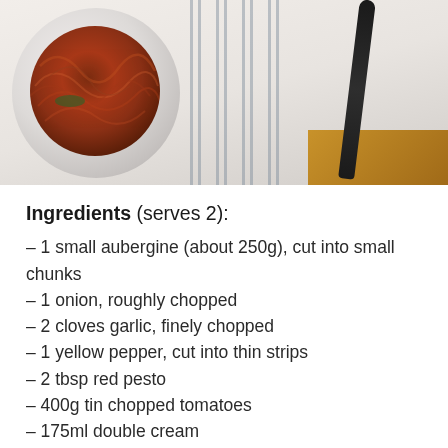[Figure (photo): A bowl of pasta or noodles with tomato-based sauce on a white plate, placed on a striped linen cloth with a dark utensil beside it and a wooden surface visible in the background.]
Ingredients (serves 2):
– 1 small aubergine (about 250g), cut into small chunks
– 1 onion, roughly chopped
– 2 cloves garlic, finely chopped
– 1 yellow pepper, cut into thin strips
– 2 tbsp red pesto
– 400g tin chopped tomatoes
– 175ml double cream
– handful fresh basil, torn